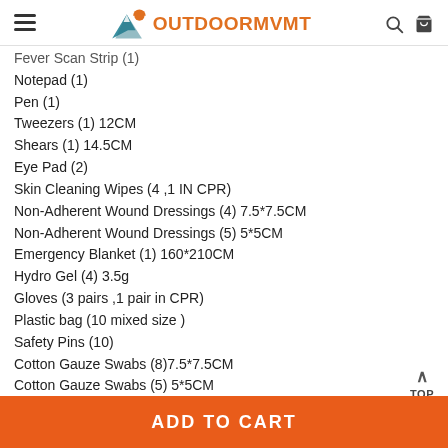OutdoorMVMT
Fever Scan Strip (1)
Notepad (1)
Pen (1)
Tweezers (1) 12CM
Shears (1) 14.5CM
Eye Pad (2)
Skin Cleaning Wipes (4 ,1 IN CPR)
Non-Adherent Wound Dressings (4) 7.5*7.5CM
Non-Adherent Wound Dressings (5) 5*5CM
Emergency Blanket (1) 160*210CM
Hydro Gel (4) 3.5g
Gloves (3 pairs ,1 pair in CPR)
Plastic bag (10 mixed size )
Safety Pins (10)
Cotton Gauze Swabs (8)7.5*7.5CM
Cotton Gauze Swabs (5) 5*5CM
Wound Closures (1)
ADD TO CART